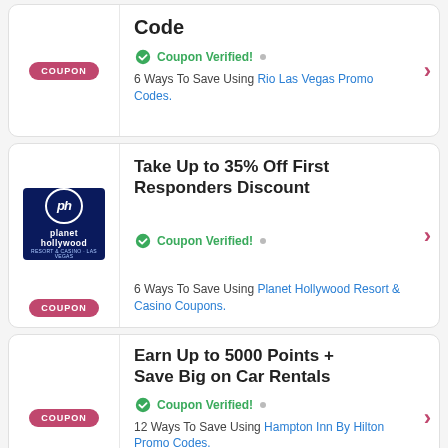[Figure (other): Coupon card 1: No logo shown, COUPON badge, arrow button. Offer: Code (partial title visible). Coupon Verified! 6 Ways To Save Using Rio Las Vegas Promo Codes.]
[Figure (other): Coupon card 2: Planet Hollywood Resort & Casino logo (dark blue). COUPON badge. Take Up to 35% Off First Responders Discount. Coupon Verified! 6 Ways To Save Using Planet Hollywood Resort & Casino Coupons. Arrow button.]
[Figure (other): Coupon card 3: No logo shown, COUPON badge, arrow button. Earn Up to 5000 Points + Save Big on Car Rentals. Coupon Verified! 12 Ways To Save Using Hampton Inn By Hilton Promo Codes.]